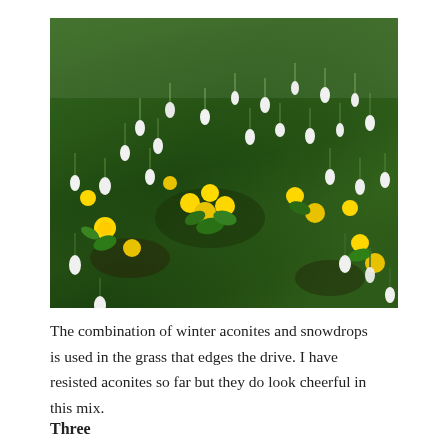[Figure (photo): A garden photograph showing a dense mix of white snowdrops and yellow winter aconites growing in green grass, viewed from above at an angle.]
The combination of winter aconites and snowdrops is used in the grass that edges the drive. I have resisted aconites so far but they do look cheerful in this mix.
Three